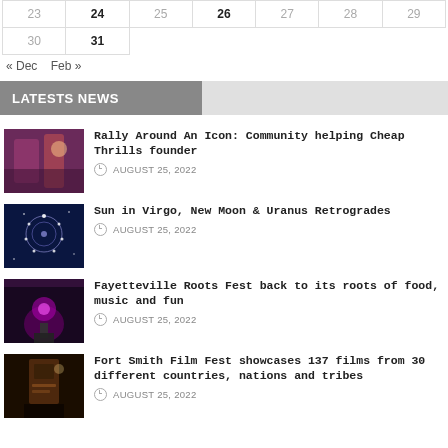| 23 | 24 | 25 | 26 | 27 | 28 | 29 |
| --- | --- | --- | --- | --- | --- | --- |
| 30 | 31 |  |  |  |  |  |
« Dec   Feb »
LATESTS NEWS
[Figure (photo): Event photo with warm purple/red tones]
Rally Around An Icon: Community helping Cheap Thrills founder
AUGUST 25, 2022
[Figure (photo): Dark blue star/moon pattern photo]
Sun in Virgo, New Moon & Uranus Retrogrades
AUGUST 25, 2022
[Figure (photo): Dark festival performer photo]
Fayetteville Roots Fest back to its roots of food, music and fun
AUGUST 25, 2022
[Figure (photo): Film festival speaker at podium photo]
Fort Smith Film Fest showcases 137 films from 30 different countries, nations and tribes
AUGUST 25, 2022